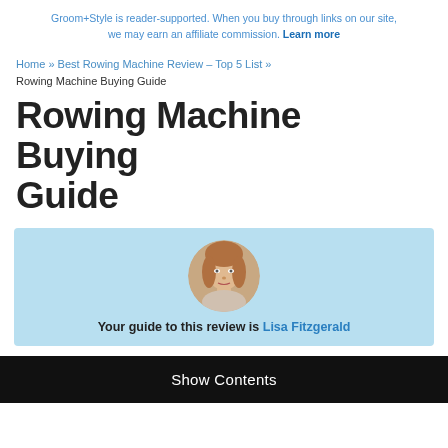Groom+Style is reader-supported. When you buy through links on our site, we may earn an affiliate commission. Learn more
Home » Best Rowing Machine Review – Top 5 List » Rowing Machine Buying Guide
Rowing Machine Buying Guide
[Figure (photo): Author box with circular portrait photo of Lisa Fitzgerald and text: Your guide to this review is Lisa Fitzgerald]
Show Contents